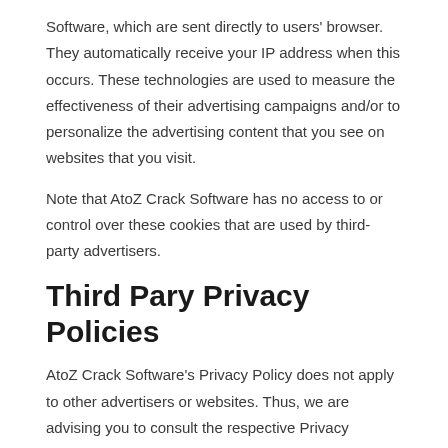Software, which are sent directly to users' browser. They automatically receive your IP address when this occurs. These technologies are used to measure the effectiveness of their advertising campaigns and/or to personalize the advertising content that you see on websites that you visit.
Note that AtoZ Crack Software has no access to or control over these cookies that are used by third-party advertisers.
Third Pary Privacy Policies
AtoZ Crack Software's Privacy Policy does not apply to other advertisers or websites. Thus, we are advising you to consult the respective Privacy Policies of these third-party ad servers for more detailed information. It may include their practices and instructions about how to opt-out of certain options. You may find a complete list of these Privacy Policies and their links here: Privacy Policy Links.